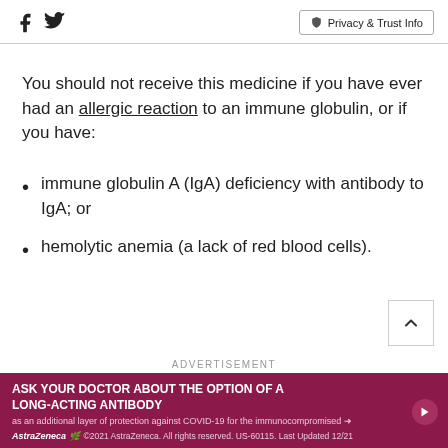Social icons (Facebook, Twitter) | Privacy & Trust Info
You should not receive this medicine if you have ever had an allergic reaction to an immune globulin, or if you have:
immune globulin A (IgA) deficiency with antibody to IgA; or
hemolytic anemia (a lack of red blood cells).
ADVERTISEMENT
[Figure (other): AstraZeneca advertisement banner: ASK YOUR DOCTOR ABOUT THE OPTION OF A LONG-ACTING ANTIBODY as an additional layer of protection against COVID-19 for the immunocompromised. AstraZeneca. ©2021 AstraZeneca. All rights reserved. US-60115. Last Updated 12/21]